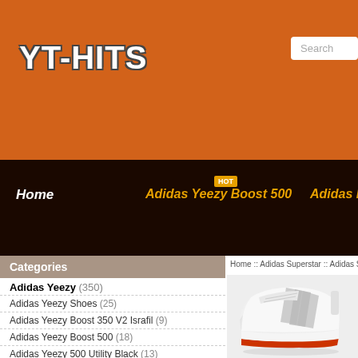YT-HITS
YT-HITS
Search
HOT
Home   Adidas Yeezy Boost 500   Adidas Nmd Wom
Categories
Home :: Adidas Superstar :: Adidas Supers
Adidas Yeezy (350)
Adidas Yeezy Shoes (25)
Adidas Yeezy Boost 350 V2 Israfil (9)
Adidas Yeezy Boost 500 (18)
Adidas Yeezy 500 Utility Black (13)
Adidas Yeezy Boost 350 V2 Black Red (5)
[Figure (photo): White Adidas sneaker/running shoe with grey three stripes and orange/red accent on sole, displayed on light grey background]